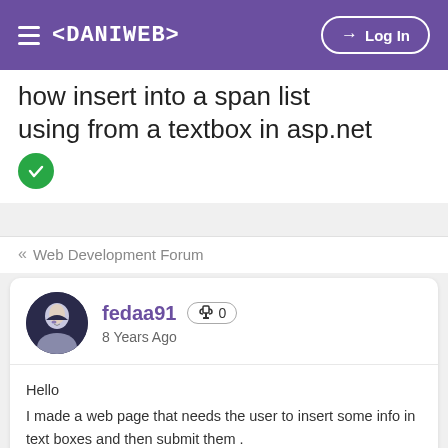< DANIWEB >  Log In
how insert into a span list using from a textbox in asp.net
« Web Development Forum
fedaa91  🏆 0  8 Years Ago
Hello
I made a web page that needs the user to insert some info in text boxes and then submit them .
I want to ask about how can i insert as an option to drop down list once i enter the textbox value by the user like this
NAME <input type ="text" id="name"/>